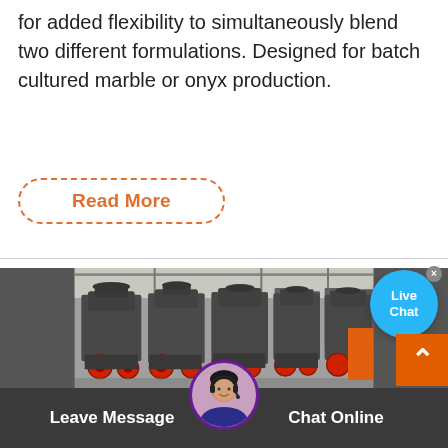for added flexibility to simultaneously blend two different formulations. Designed for batch cultured marble or onyx production.
Read More
[Figure (photo): Industrial machines (crushers or mixers) lined up in a large factory/warehouse with red wheel accents and metal frames]
Live Chat
Leave Message
Chat Online